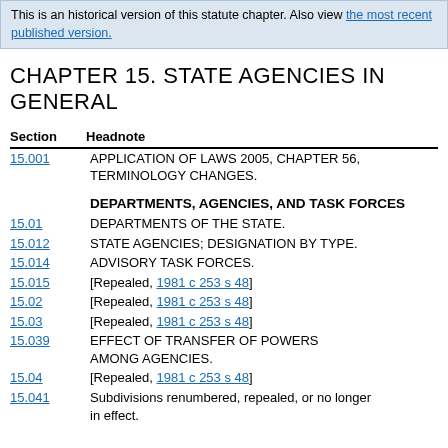This is an historical version of this statute chapter. Also view the most recent published version.
CHAPTER 15. STATE AGENCIES IN GENERAL
| Section | Headnote |
| --- | --- |
| 15.001 | APPLICATION OF LAWS 2005, CHAPTER 56, TERMINOLOGY CHANGES. |
|  | DEPARTMENTS, AGENCIES, AND TASK FORCES |
| 15.01 | DEPARTMENTS OF THE STATE. |
| 15.012 | STATE AGENCIES; DESIGNATION BY TYPE. |
| 15.014 | ADVISORY TASK FORCES. |
| 15.015 | [Repealed, 1981 c 253 s 48] |
| 15.02 | [Repealed, 1981 c 253 s 48] |
| 15.03 | [Repealed, 1981 c 253 s 48] |
| 15.039 | EFFECT OF TRANSFER OF POWERS AMONG AGENCIES. |
| 15.04 | [Repealed, 1981 c 253 s 48] |
| 15.041 | Subdivisions renumbered, repealed, or no longer in effect. |